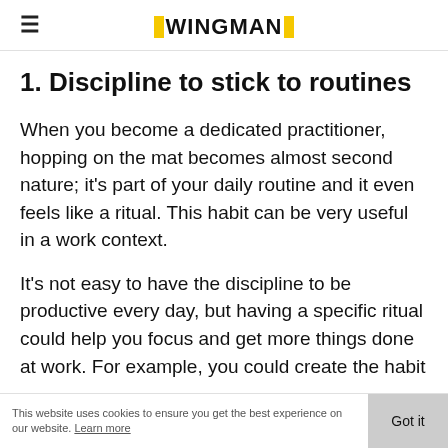≡ WINGMAN
1. Discipline to stick to routines
When you become a dedicated practitioner, hopping on the mat becomes almost second nature; it's part of your daily routine and it even feels like a ritual. This habit can be very useful in a work context.
It's not easy to have the discipline to be productive every day, but having a specific ritual could help you focus and get more things done at work. For example, you could create the habit
This website uses cookies to ensure you get the best experience on our website. Learn more   Got it